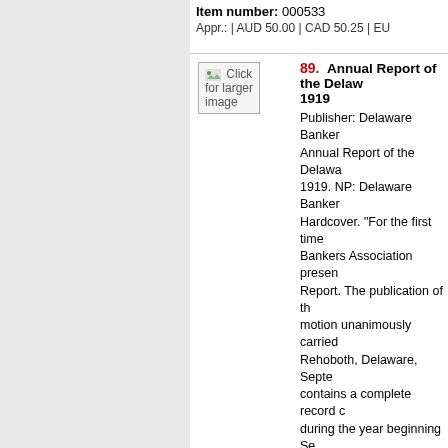Item number: 000533
Appr.: | AUD 50.00 | CAD 50.25 | EU
[Figure (screenshot): Thumbnail placeholder reading 'Click for larger image' with small green leaf icon]
89. Annual Report of the Delaware Bankers Association, 1919
Publisher: Delaware Bankers Association Annual Report of the Delaware Bankers Association, 1919. NP: Delaware Bankers Association. Hardcover. "For the first time the Delaware Bankers Association presents an Annual Report. The publication of this Report was by motion unanimously carried at the meeting at Rehoboth, Delaware, September 6, 1918. This contains a complete record of all transactions during the year beginning September 6, 1918, to September 4, 1919, including the proceedings of the last Annual Meeting, and all addresses delivered at both sessions. In addition to the valuable information that other reports give, the scope of the Report was enlarged by including introductory to the Report proper, a brief but reliable “History of Banking in Delaware” and the Delaware Bankers Association Constitution and By-Laws of the... Book is in GOOD condition;